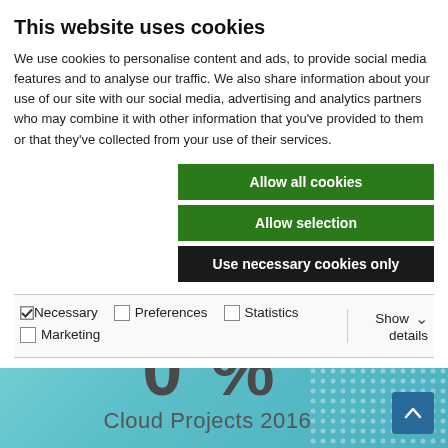This website uses cookies
We use cookies to personalise content and ads, to provide social media features and to analyse our traffic. We also share information about your use of our site with our social media, advertising and analytics partners who may combine it with other information that you've provided to them or that they've collected from your use of their services.
Allow all cookies
Allow selection
Use necessary cookies only
Necessary  Preferences  Statistics  Marketing  Show details
[Figure (infographic): Teal/cyan gradient background with dot-pattern decoration in top-right corner, showing large text '0 %' and label 'Cloud Projects 2016', with a blue scroll-to-top button in the bottom right corner]